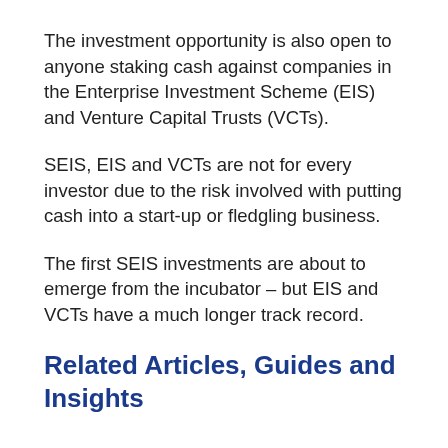The investment opportunity is also open to anyone staking cash against companies in the Enterprise Investment Scheme (EIS) and Venture Capital Trusts (VCTs).
SEIS, EIS and VCTs are not for every investor due to the risk involved with putting cash into a start-up or fledgling business.
The first SEIS investments are about to emerge from the incubator – but EIS and VCTs have a much longer track record.
Related Articles, Guides and Insights